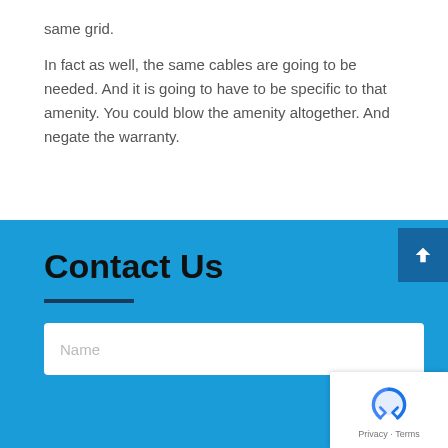same grid.
In fact as well, the same cables are going to be needed. And it is going to have to be specific to that amenity. You could blow the amenity altogether. And negate the warranty.
Contact Us
Name